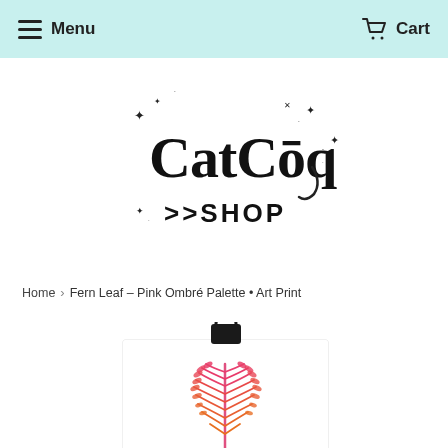Menu | Cart
[Figure (logo): CatCoq Shop logo with sparkle/star decorations and stylized text]
Home > Fern Leaf – Pink Ombré Palette • Art Print
[Figure (photo): Art print of a fern leaf in pink and orange ombré palette, clipped to a black binder clip, displayed on a white card]